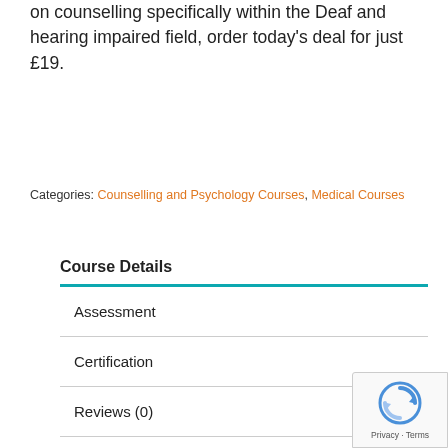on counselling specifically within the Deaf and hearing impaired field, order today's deal for just £19.
Categories: Counselling and Psychology Courses, Medical Courses
Course Details
Assessment
Certification
Reviews (0)
FAQ's
Ask a Question